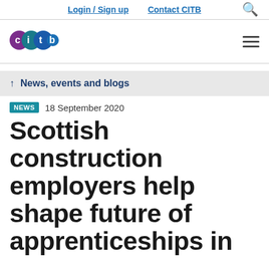Login / Sign up   Contact CITB
[Figure (logo): CITB logo with coloured circles spelling out 'citb']
News, events and blogs
NEWS  18 September 2020
Scottish construction employers help shape future of apprenticeships in